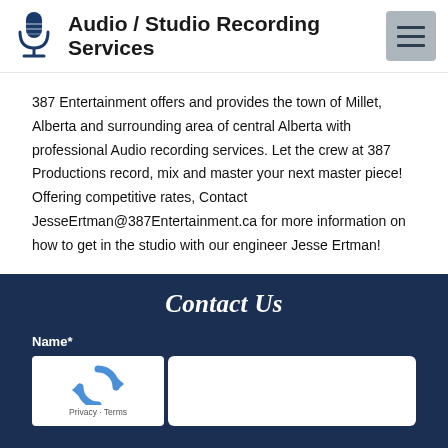Audio / Studio Recording Services
387 Entertainment offers and provides the town of Millet, Alberta and surrounding area of central Alberta with professional Audio recording services. Let the crew at 387 Productions record, mix and master your next master piece! Offering competitive rates, Contact JesseErtman@387Entertainment.ca for more information on how to get in the studio with our engineer Jesse Ertman!
Contact Us
Name*